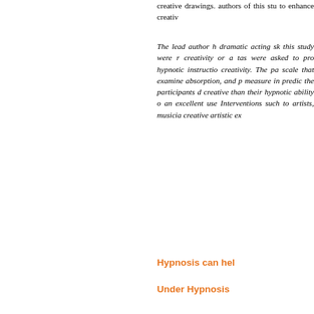creative drawings. authors of this study to enhance creativity
The lead author h dramatic acting sk this study were r creativity or a tas were asked to pro hypnotic instructio creativity. The pa scale that examine absorption, and p measure in predic the participants d creative than their hypnotic ability o an excellent use Interventions such to artists, musicia creative artistic ex
Hypnosis can hel
Under Hypnosis